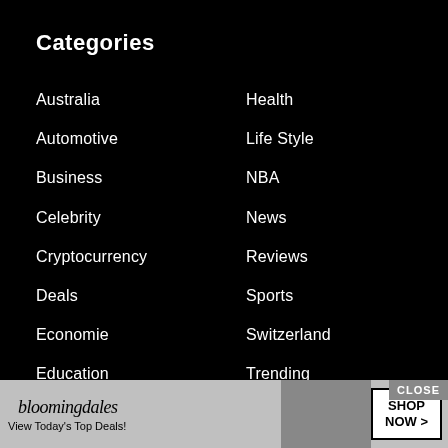Categories
Australia
Automotive
Business
Celebrity
Cryptocurrency
Deals
Economie
Education
Euro
Forex
Gaming
Health
Life Style
NBA
News
Reviews
Sports
Switzerland
Trending
U.S.
Uncategorized
[Figure (screenshot): Bloomingdale's advertisement banner: 'View Today's Top Deals!' with SHOP NOW > button and woman in hat photo]